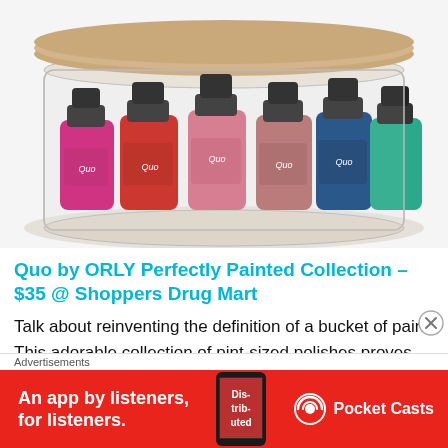[Figure (photo): A glass circular container holding six Quo by ORLY nail polish bottles in various colors including magenta, red, pink/rose glitter, mauve, navy, and teal, with black caps.]
Quo by ORLY Perfectly Painted Collection – $35 @ Shoppers Drug Mart
Talk about reinventing the definition of a bucket of paint! This adorable collection of pint-sized polishes proves that amazing holiday gifts don't have to break the bank. With
Advertisements
[Figure (screenshot): Red advertisement banner for Pocket Casts app reading 'An app by listeners, for listeners.' with Dis-trib-uted text on phone image and Pocket Casts logo]